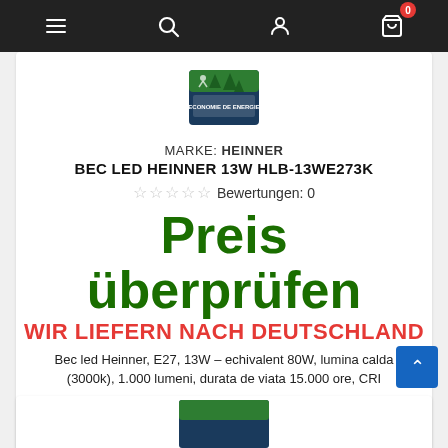Navigation bar with menu, search, account, and cart (0 items) icons
[Figure (photo): Product box image for BEC LED HEINNER 13W HLB-13WE273K showing a green product package with trees and energy saving imagery]
MARKE: HEINNER
BEC LED HEINNER 13W HLB-13WE273K
☆☆☆☆☆ Bewertungen: 0
Preis überprüfen
WIR LIEFERN NACH DEUTSCHLAND
Bec led Heinner, E27, 13W – echivalent 80W, lumina calda (3000k), 1.000 lumeni, durata de viata 15.000 ore, CRI
Artikeldetails
Auf Lager